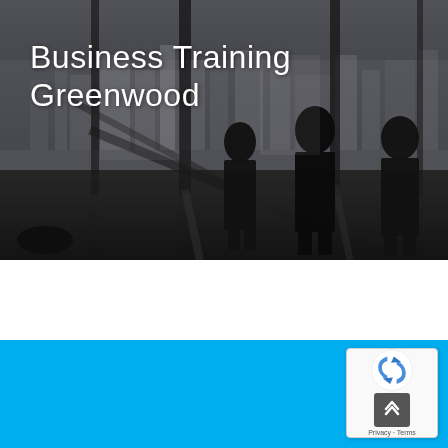[Figure (photo): Grayscale/dark-tinted photo of a modern office building interior with floor-to-ceiling windows overlooking a city skyline. Three silhouetted figures are standing in the background. The lower half is a dark reflective floor.]
Business Training Greenwood
[Figure (other): reCAPTCHA badge widget with Google logo and an upward-pointing double chevron arrow button. Text reads 'Privacy Terms'.]